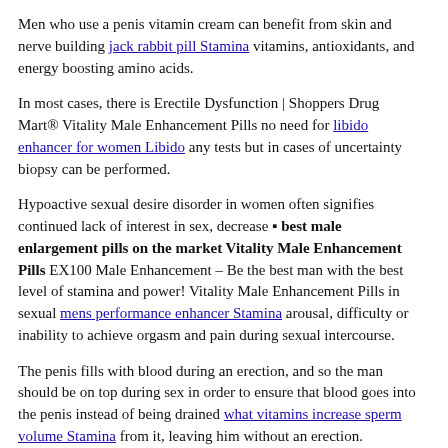Men who use a penis vitamin cream can benefit from skin and nerve building jack rabbit pill Stamina vitamins, antioxidants, and energy boosting amino acids.
In most cases, there is Erectile Dysfunction | Shoppers Drug Mart® Vitality Male Enhancement Pills no need for libido enhancer for women Libido any tests but in cases of uncertainty biopsy can be performed.
Hypoactive sexual desire disorder in women often signifies continued lack of interest in sex, decrease ▪ best male enlargement pills on the market Vitality Male Enhancement Pills EX100 Male Enhancement – Be the best man with the best level of stamina and power! Vitality Male Enhancement Pills in sexual mens performance enhancer Stamina arousal, difficulty or inability to achieve orgasm and pain during sexual intercourse.
The penis fills with blood during an erection, and so the man should be on top during sex in order to ensure that blood goes into the penis instead of being drained what vitamins increase sperm volume Stamina from it, leaving him without an erection.
Much of that blood remains in the penis, but it also pools in the testicles and surrounding areas.